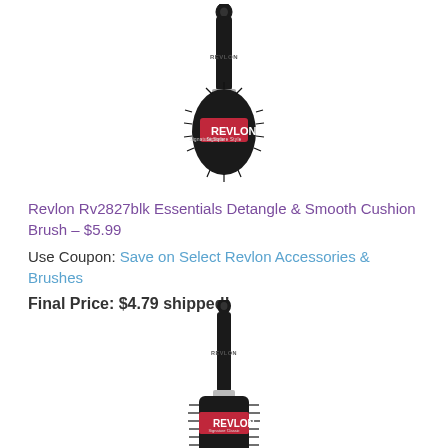[Figure (photo): Black Revlon cushion paddle hairbrush with oval head and red Revlon brand label band, photographed from above against white background]
Revlon Rv2827blk Essentials Detangle & Smooth Cushion Brush – $5.99
Use Coupon: Save on Select Revlon Accessories & Brushes
Final Price: $4.79 shipped!
[Figure (photo): Black Revlon round barrel hairbrush with cylindrical head and red Revlon brand label band, photographed from above against white background]